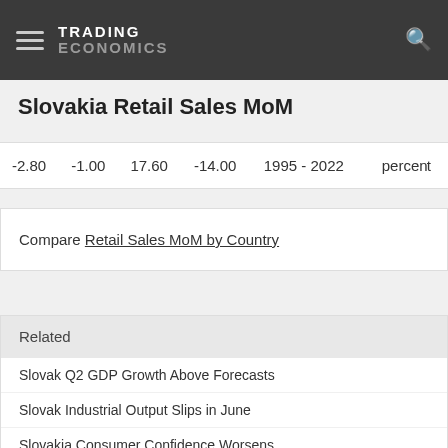TRADING ECONOMICS
Slovakia Retail Sales MoM
| -2.80 | -1.00 | 17.60 | -14.00 | 1995 - 2022 | percent |
Compare Retail Sales MoM by Country
Related
Slovak Q2 GDP Growth Above Forecasts
Slovak Industrial Output Slips in June
Slovakia Consumer Confidence Worsens
Slovakia June Inflation Rate at Fresh High
Slovakia Construction Output Rebounds in May
Slovak Business Morale at 4-Month Low